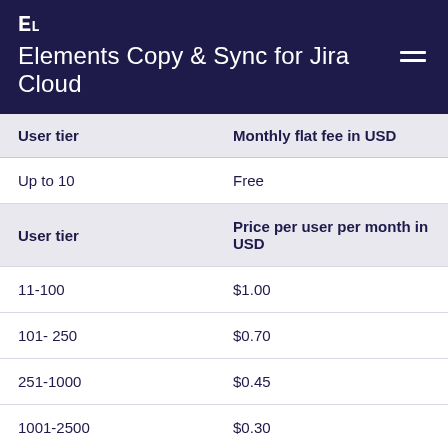EL Elements Copy & Sync for Jira Cloud
| User tier | Monthly flat fee in USD |
| --- | --- |
| Up to 10 | Free |
| User tier | Price per user per month in USD |
| 11-100 | $1.00 |
| 101- 250 | $0.70 |
| 251-1000 | $0.45 |
| 1001-2500 | $0.30 |
| 2501-5000 | $0.25 |